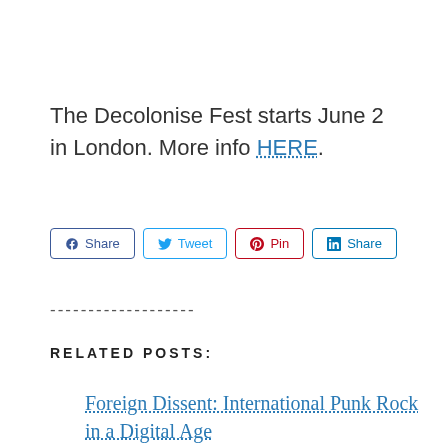The Decolonise Fest starts June 2 in London. More info HERE.
[Figure (other): Social share buttons: Facebook Share, Twitter Tweet, Pinterest Pin, LinkedIn Share]
-------------------
RELATED POSTS:
Foreign Dissent: International Punk Rock in a Digital Age